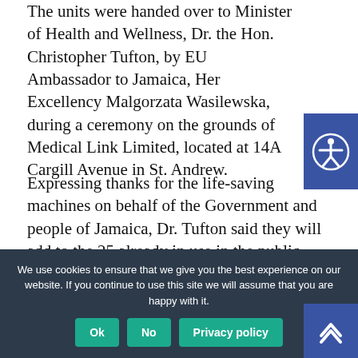The units were handed over to Minister of Health and Wellness, Dr. the Hon. Christopher Tufton, by EU Ambassador to Jamaica, Her Excellency Malgorzata Wasilewska, during a ceremony on the grounds of Medical Link Limited, located at 14A Cargill Avenue in St. Andrew.
Expressing thanks for the life-saving machines on behalf of the Government and people of Jamaica, Dr. Tufton said they will add to the 25 already in use in the public health system.
“This has effectively doubled the capacity of what we had originally, as we did bring in
We use cookies to ensure that we give you the best experience on our website. If you continue to use this site we will assume that you are happy with it.